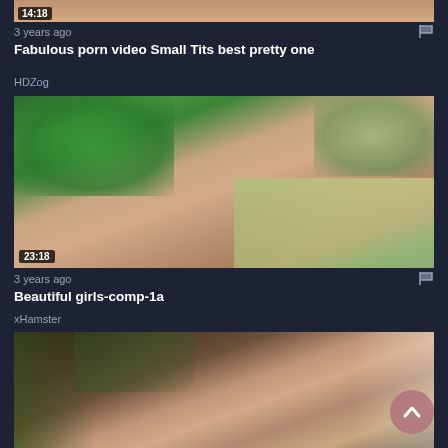[Figure (screenshot): Top portion of a video thumbnail partially visible at the top of the page with duration badge 14:18]
3 years ago
Fabulous porn video Small Tits best pretty one
HDZog
[Figure (photo): Video thumbnail showing a young woman with brown hair wearing a green flower hair accessory, looking down, with green plants in the background. Duration badge shows 23:18]
3 years ago
Beautiful girls-comp-1a
xHamster
[Figure (photo): Partial video thumbnail visible at the bottom of the page]